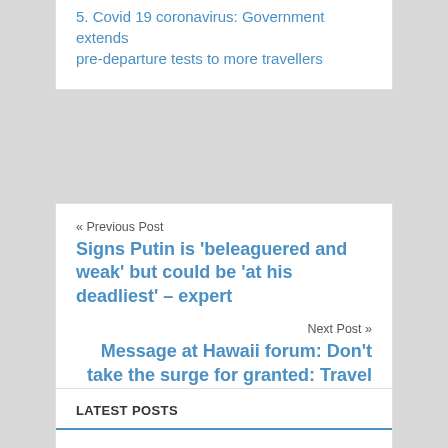5. Covid 19 coronavirus: Government extends pre-departure tests to more travellers
« Previous Post
Signs Putin is 'beleaguered and weak' but could be 'at his deadliest' – expert
Next Post »
Message at Hawaii forum: Don't take the surge for granted: Travel Weekly
LATEST POSTS
Ryan Cohen's $60 million Bed Bath u-turn triggers meme stock investor ire